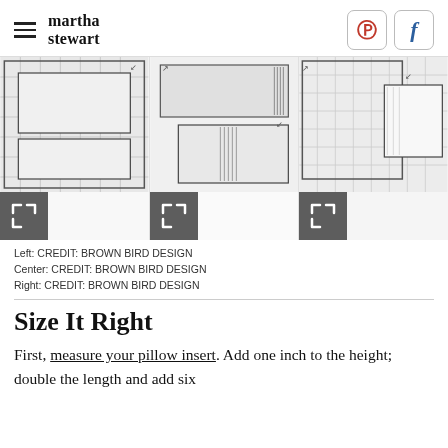martha stewart
[Figure (illustration): Three side-by-side sewing/pillow construction diagrams showing fabric layouts with gingham and solid fabrics, each with a fullscreen expand icon in bottom-left corner]
Left: CREDIT: BROWN BIRD DESIGN
Center: CREDIT: BROWN BIRD DESIGN
Right: CREDIT: BROWN BIRD DESIGN
Size It Right
First, measure your pillow insert. Add one inch to the height; double the length and add six